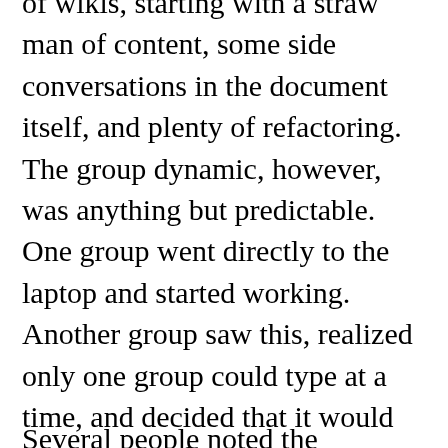of wikis, starting with a straw man of content, some side conversations in the document itself, and plenty of refactoring. The group dynamic, however, was anything but predictable. One group went directly to the laptop and started working. Another group saw this, realized only one group could type at a time, and decided that it would spend most of its time talking amongst themselves. Throughout the half hour, two groups regular switched off on the laptop while the third group didn't participate until the very end. The last few minutes was mostly frantic typing while everyone else stood around and watched. (MN5)
Several people noted the challenge of having only